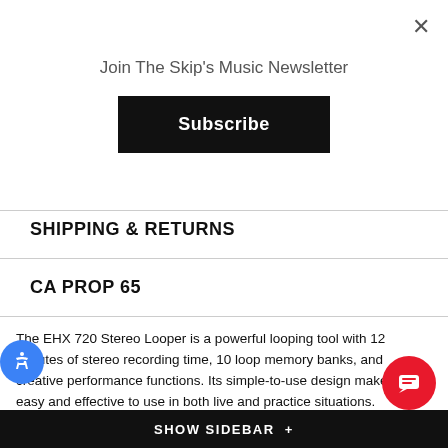Join The Skip's Music Newsletter
Subscribe
SHIPPING & RETURNS
CA PROP 65
The EHX 720 Stereo Looper is a powerful looping tool with 12 minutes of stereo recording time, 10 loop memory banks, and creative performance functions. Its simple-to-use design makes it an easy and effective to use in both live and practice situations.
The 720 records in high-quality stereo for use with stereo effects or even use with two instruments. A second footswitch can be programmed to stop playback or toggle on/off the built-in Reverse and 1/2 Speed playback effects. The programmable Fadeout mode applys an automatic fade when playback is stopped.
SHOW SIDEBAR +